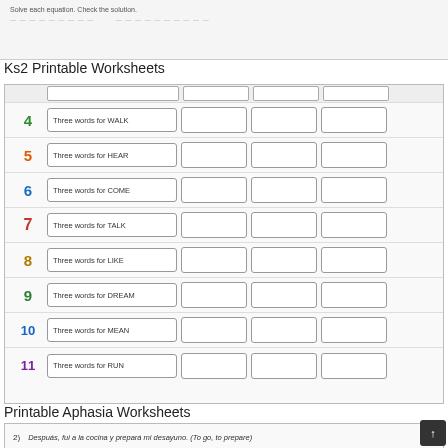Solve each equation. Check the solution.
Ks2 Printable Worksheets
[Figure (illustration): A KS2 worksheet showing rows numbered 4 through 11, each with a colored number, a prompt box (e.g. 'Three words for WALK'), and three blank answer boxes.]
Printable Aphasia Worksheets
2) Despuás, fui a la cocina y prepará mi desayuno. (To go, to prepare)